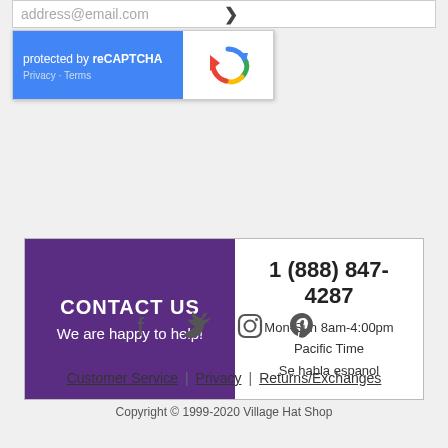[Figure (screenshot): Email input field with placeholder text 'address@email.com' and a reCAPTCHA widget showing 'protected by reCAPTCHA' with Privacy and Terms links]
CONTACT US
We are happy to help!
1 (888) 847-4287
Mon-Sun 8am-4:00pm
Pacific Time
Se habla espanol
[Figure (infographic): Social media icons: Facebook, Twitter, Instagram, Pinterest]
Customer Service | Privacy | Returns/Exchanges
Copyright © 1999-2020 Village Hat Shop